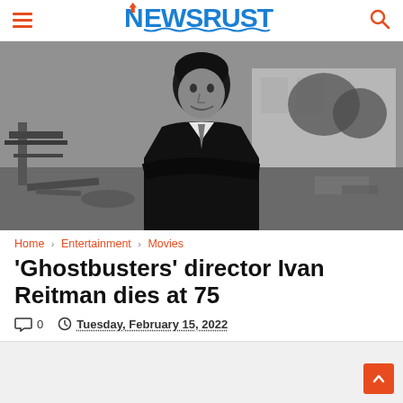NEWSRUST
[Figure (photo): Black and white photograph of Ivan Reitman, a young man smiling, wearing a dark jacket, standing outdoors in a yard with debris and a building in the background.]
Home › Entertainment › Movies
'Ghostbusters' director Ivan Reitman dies at 75
0   Tuesday, February 15, 2022